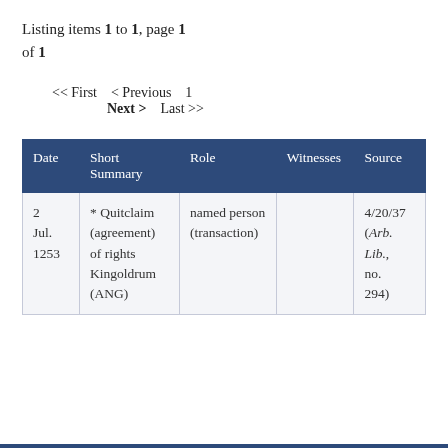Listing items 1 to 1, page 1 of 1
<< First  < Previous  1  Next >  Last >>
| Date | Short Summary | Role | Witnesses | Source |
| --- | --- | --- | --- | --- |
| 2 Jul. 1253 | * Quitclaim (agreement) of rights Kingoldrum (ANG) | named person (transaction) |  | 4/20/37 (Arb. Lib., no. 294) |